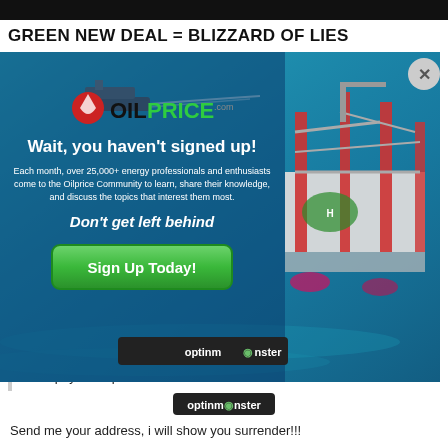GREEN NEW DEAL = BLIZZARD OF LIES
[Figure (screenshot): OilPrice.com popup modal overlay on top of an article page. The modal shows an oil drilling rig in the ocean background, with the OilPrice.com logo, text 'Wait, you haven't signed up!', body text about 25,000+ energy professionals, 'Don't get left behind' subheadline, a green 'Sign Up Today!' button, and an OptinMonster branding bar at the bottom.]
I accept your capitulation.
Send me your address, i will show you surrender!!!